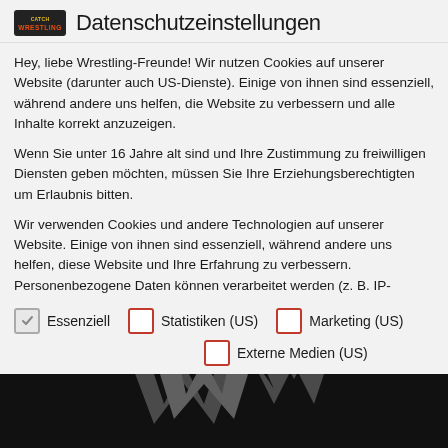Datenschutzeinstellungen
Hey, liebe Wrestling-Freunde! Wir nutzen Cookies auf unserer Website (darunter auch US-Dienste). Einige von ihnen sind essenziell, während andere uns helfen, die Website zu verbessern und alle Inhalte korrekt anzuzeigen.
Wenn Sie unter 16 Jahre alt sind und Ihre Zustimmung zu freiwilligen Diensten geben möchten, müssen Sie Ihre Erziehungsberechtigten um Erlaubnis bitten.
Wir verwenden Cookies und andere Technologien auf unserer Website. Einige von ihnen sind essenziell, während andere uns helfen, diese Website und Ihre Erfahrung zu verbessern. Personenbezogene Daten können verarbeitet werden (z. B. IP-
✓ Essenziell
□ Statistiken (US)
□ Marketing (US)
□ Externe Medien (US)
[Figure (logo): WWE logo on dark background at bottom of page]